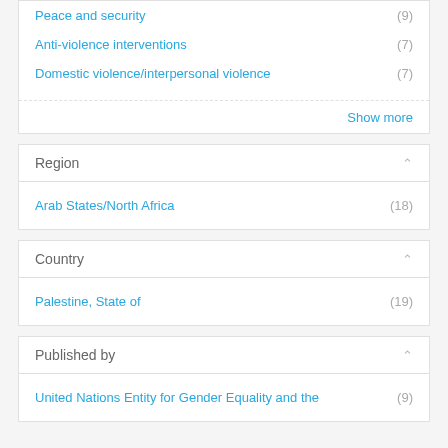Peace and security (9)
Anti-violence interventions (7)
Domestic violence/interpersonal violence (7)
Show more
Region
Arab States/North Africa (18)
Country
Palestine, State of (19)
Published by
United Nations Entity for Gender Equality and the (9)